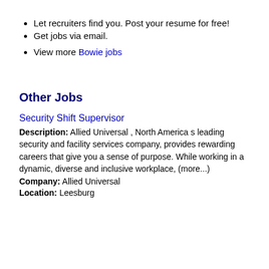Let recruiters find you. Post your resume for free!
Get jobs via email.
View more Bowie jobs
Other Jobs
Security Shift Supervisor
Description: Allied Universal , North America s leading security and facility services company, provides rewarding careers that give you a sense of purpose. While working in a dynamic, diverse and inclusive workplace, (more...)
Company: Allied Universal
Location: Leesburg